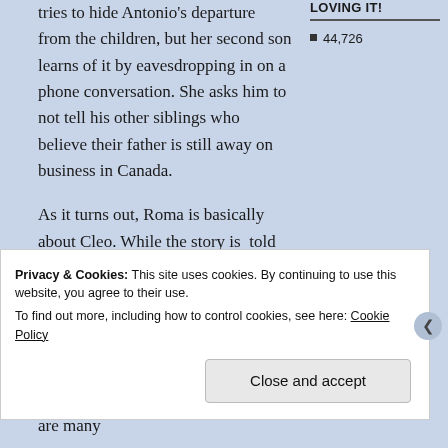tries to hide Antonio's departure from the children, but her second son learns of it by eavesdropping in on a phone conversation. She asks him to not tell his other siblings who believe their father is still away on business in Canada.
LOVING IT!
44,726
As it turns out, Roma is basically about Cleo. While the story is  told tenderly, it is slow and perhaps somewhat boring to some.  It you stick with it, you'll find some extremely interesting moments.  Overall, the story is worth sharing and I've left it at a point where there are many
Privacy & Cookies: This site uses cookies. By continuing to use this website, you agree to their use.
To find out more, including how to control cookies, see here: Cookie Policy